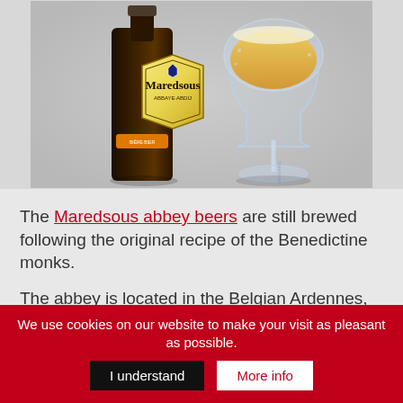[Figure (photo): Maredsous abbey beer bottle and branded glass with golden beer, shown against a light grey background]
The Maredsous abbey beers are still brewed following the original recipe of the Benedictine monks.
The abbey is located in the Belgian Ardennes, south of the city of Namur, near the picturesque village of Denée. Thirty-three monks live, pray and work in Maredsous Abbey, following the Rule of Saint Benedict. This tradition
We use cookies on our website to make your visit as pleasant as possible.
I understand
More info